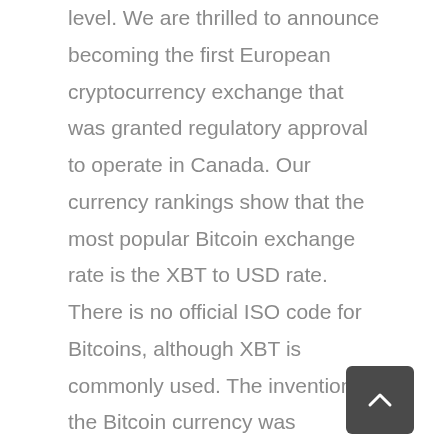level. We are thrilled to announce becoming the first European cryptocurrency exchange that was granted regulatory approval to operate in Canada. Our currency rankings show that the most popular Bitcoin exchange rate is the XBT to USD rate. There is no official ISO code for Bitcoins, although XBT is commonly used. The invention of the Bitcoin currency was simultaneous to the invention of Bitcoin as a blockchain, and it was the first of its kind in history. It was created in 2009 by an anonymous person or group of people, known pseudonymously as Satoshi Nakamoto. Bitcoin was the first cryptocurrency, and it is known as digital gold.
[Figure (other): Back to top button — dark grey rounded square with upward-pointing chevron arrow]